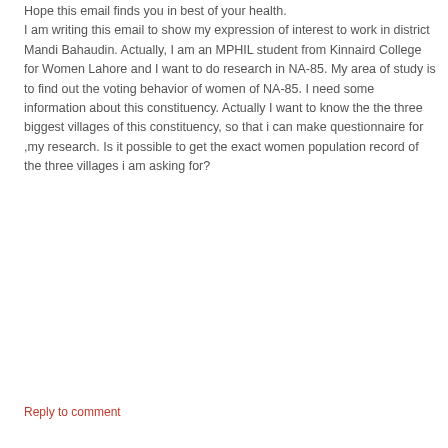Hope this email finds you in best of your health. I am writing this email to show my expression of interest to work in district Mandi Bahaudin. Actually, I am an MPHIL student from Kinnaird College for Women Lahore and I want to do research in NA-85. My area of study is to find out the voting behavior of women of NA-85. I need some information about this constituency. Actually I want to know the the three biggest villages of this constituency, so that i can make questionnaire for ,my research. Is it possible to get the exact women population record of the three villages i am asking for?
Reply to comment